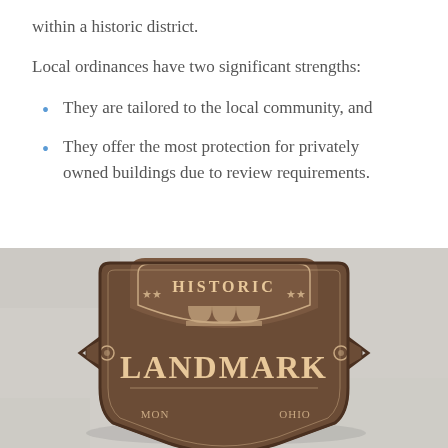within a historic district.
Local ordinances have two significant strengths:
They are tailored to the local community, and
They offer the most protection for privately owned buildings due to review requirements.
[Figure (photo): A bronze Historic Landmark plaque from Montgomery, Ohio, mounted on a white stucco wall. The shield-shaped plaque reads 'HISTORIC LANDMARK' with stars and an architectural motif, and 'MONTGOMERY OHIO' along the bottom.]